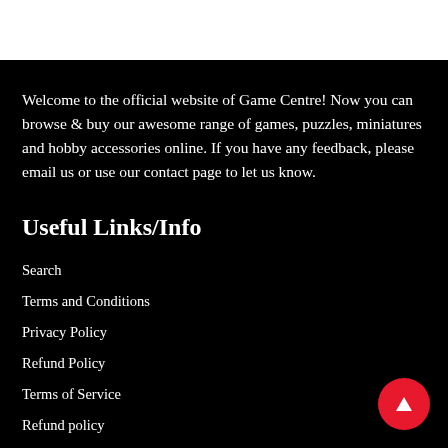Welcome to the official website of Game Centre! Now you can browse & buy our awesome range of games, puzzles, miniatures and hobby accessories online. If you have any feedback, please email us or use our contact page to let us know.
Useful Links/Info
Search
Terms and Conditions
Privacy Policy
Refund Policy
Terms of Service
Refund policy